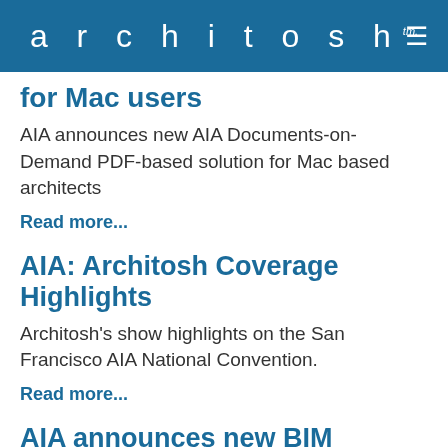architosh™ ≡
for Mac users
AIA announces new AIA Documents-on-Demand PDF-based solution for Mac based architects
Read more...
AIA: Architosh Coverage Highlights
Architosh's show highlights on the San Francisco AIA National Convention.
Read more...
AIA announces new BIM document E202-2008